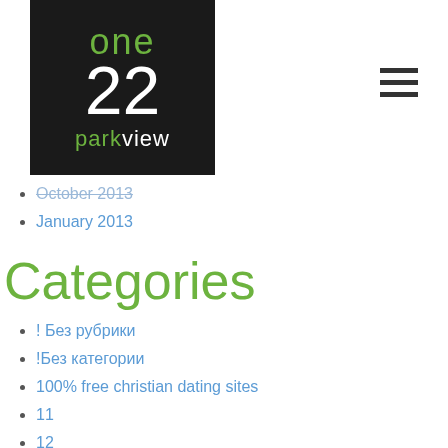[Figure (logo): One 22 Parkview logo: black background with green 'one' text, white '22' numeral, and white/green 'parkview' text]
October 2013
January 2013
Categories
! Без рубрики
!Без категории
100% free christian dating sites
11
12